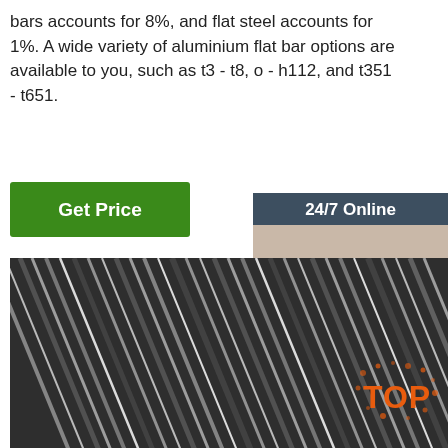bars accounts for 8%, and flat steel accounts for 1%. A wide variety of aluminium flat bar options are available to you, such as t3 - t8, o - h112, and t351 - t651.
[Figure (other): Green 'Get Price' button]
[Figure (other): Sidebar widget with '24/7 Online' header, photo of customer service representative with headset, 'Click here for free chat!' text, and orange QUOTATION button]
[Figure (photo): Close-up photo of metal wire coils/rods, showing dark and light striped metallic surface texture]
[Figure (logo): Orange 'TOP' badge/logo in bottom right corner]